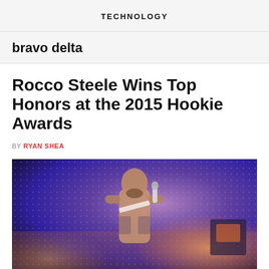TECHNOLOGY
bravo delta
Rocco Steele Wins Top Honors at the 2015 Hookie Awards
BY RYAN SHEA
[Figure (photo): A tattooed shirtless man on stage holding a microphone, wearing a sash, with a colorful lit backdrop of purple and blue dot-matrix LED screen and stage lights]